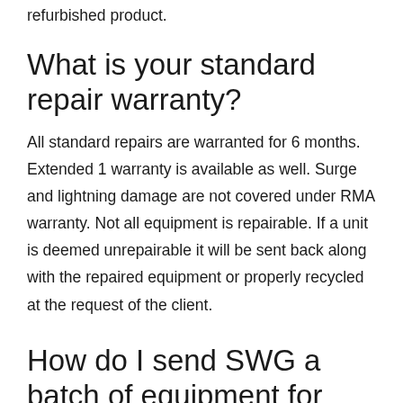refurbished product.
What is your standard repair warranty?
All standard repairs are warranted for 6 months. Extended 1 warranty is available as well. Surge and lightning damage are not covered under RMA warranty. Not all equipment is repairable. If a unit is deemed unrepairable it will be sent back along with the repaired equipment or properly recycled at the request of the client.
How do I send SWG a batch of equipment for repair?